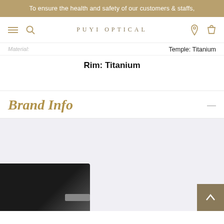To ensure the health and safety of our customers & staffs,
[Figure (screenshot): Puyi Optical website navigation bar with hamburger menu, search icon, PUYI OPTICAL logo, location pin icon, and shopping bag icon]
Material: Temple: Titanium
Rim: Titanium
Brand Info
[Figure (photo): Close-up photo of eyeglasses frame showing black and silver titanium rim corners against a light background]